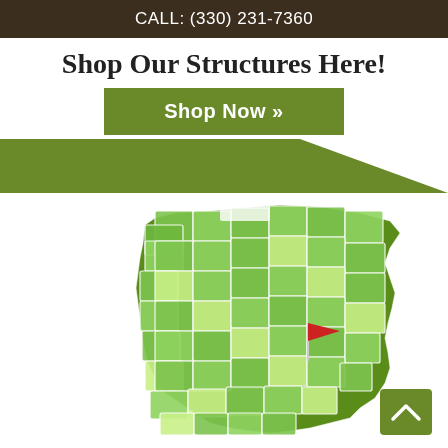CALL: (330) 231-7360
Shop Our Structures Here!
Shop Now »
[Figure (map): Green county map of Ohio with a red location flag marker placed in the northeast-central area of the state (Stark/Wayne county region), with a white grid-line county grid overlay.]